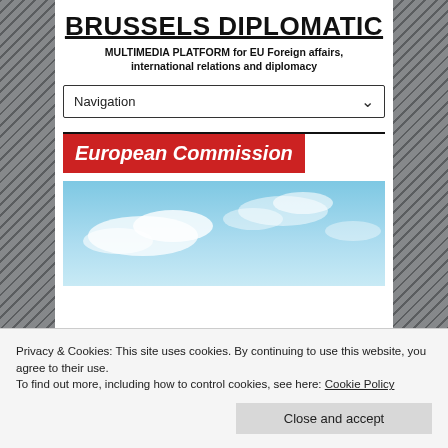BRUSSELS DIPLOMATIC
MULTIMEDIA PLATFORM for EU Foreign affairs, international relations and diplomacy
Navigation
European Commission
[Figure (photo): Sky with light blue and white clouds]
Privacy & Cookies: This site uses cookies. By continuing to use this website, you agree to their use.
To find out more, including how to control cookies, see here: Cookie Policy
Close and accept